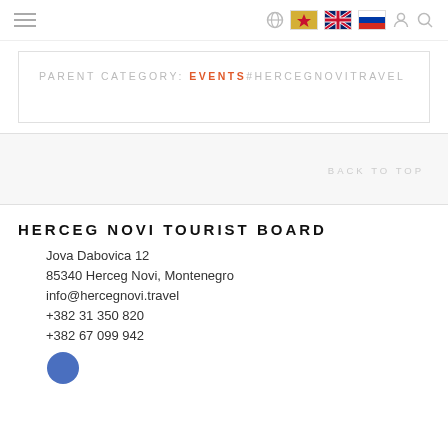PARENT CATEGORY: EVENTS#HERCEGNOVITRAVEL
BACK TO TOP
HERCEG NOVI TOURIST BOARD
Jova Dabovica 12
85340 Herceg Novi, Montenegro
info@hercegnovi.travel
+382 31 350 820
+382 67 099 942